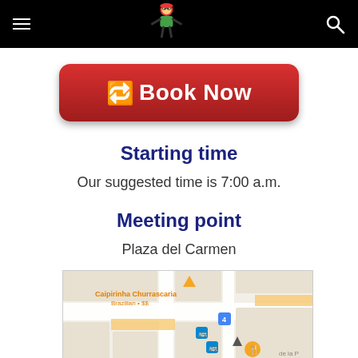Navigation header with hamburger menu, logo, and search icon
[Figure (other): Red 'Book Now' button with yellow arrow icon]
Starting time
Our suggested time is 7:00 a.m.
Meeting point
Plaza del Carmen
[Figure (map): Google Maps screenshot showing Caipirinha Churrascaria (Brazilian • $$) with map pins including bus stop icons and food icon, street 'de la P' visible]